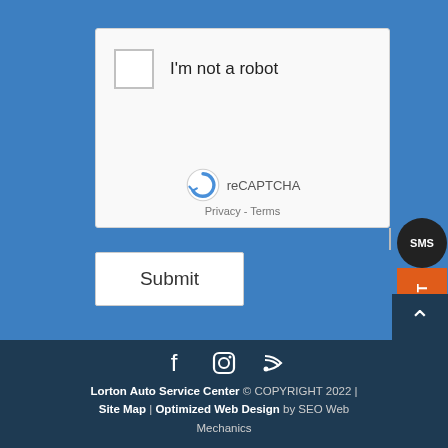[Figure (screenshot): reCAPTCHA widget showing checkbox labeled 'I'm not a robot' with reCAPTCHA logo, Privacy and Terms links]
Submit
[Figure (other): SMS TEXT widget button on right edge with dark bubble labeled 'SMS' and orange bar labeled 'TEXT']
[Figure (other): Scroll-to-top button with upward arrow chevron]
f  ⊙  ))) (social media icons: Facebook, Instagram, RSS)
Lorton Auto Service Center © COPYRIGHT 2022 | Site Map | Optimized Web Design by SEO Web Mechanics